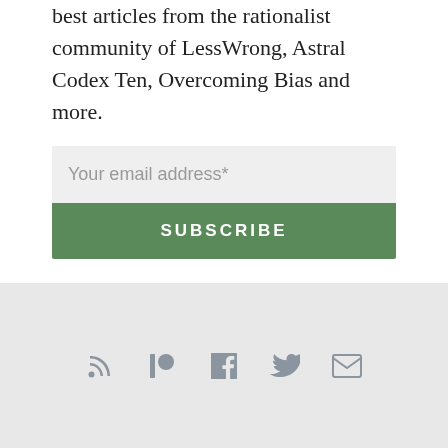best articles from the rationalist community of LessWrong, Astral Codex Ten, Overcoming Bias and more.
Your email address*
SUBSCRIBE
Share this:
ARCHIVES
RSS, Patreon, Facebook, Twitter, Email icons